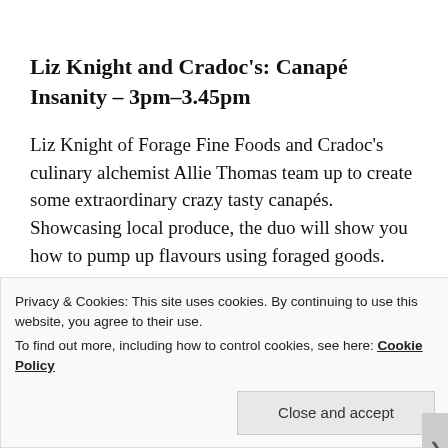Liz Knight and Cradoc's: Canapé Insanity – 3pm–3.45pm
Liz Knight of Forage Fine Foods and Cradoc's culinary alchemist Allie Thomas team up to create some extraordinary crazy tasty canapés. Showcasing local produce, the duo will show you how to pump up flavours using foraged goods.
Privacy & Cookies: This site uses cookies. By continuing to use this website, you agree to their use.
To find out more, including how to control cookies, see here: Cookie Policy
Close and accept